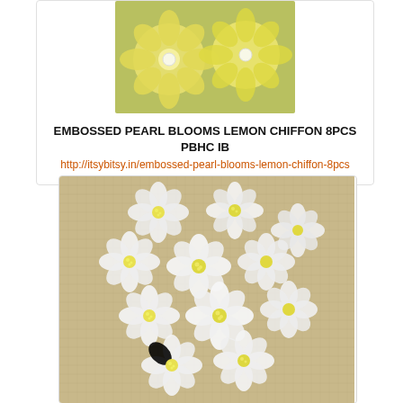[Figure (photo): Yellow paper/fabric embossed flowers with pearl centers on a teal/green background, partially visible at top of page]
EMBOSSED PEARL BLOOMS LEMON CHIFFON 8PCS PBHC IB
http://itsybitsy.in/embossed-pearl-blooms-lemon-chiffon-8pcs
[Figure (photo): White paper flowers with yellow centers arranged in a cluster on a beige burlap background]